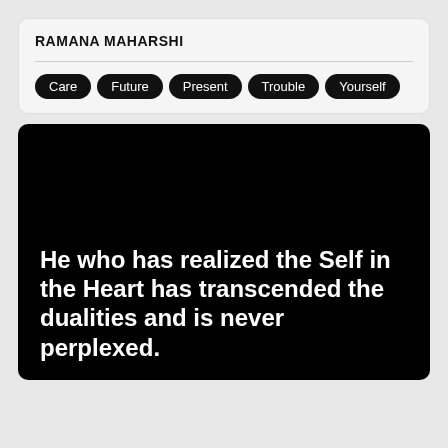RAMANA MAHARSHI
Care
Future
Present
Trouble
Yourself
[Figure (photo): Black background image with white bold text quote: He who has realized the Self in the Heart has transcended the dualities and is never perplexed.]
He who has realized the Self in the Heart has transcended the dualities and is never perplexed.